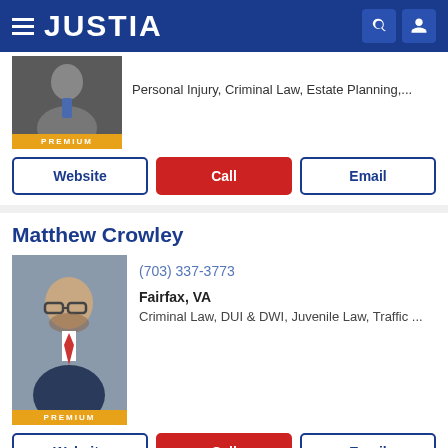JUSTIA
Personal Injury, Criminal Law, Estate Planning,...
Website
Call
Email
Matthew Crowley
(703) 337-3773
Fairfax, VA
Criminal Law, DUI & DWI, Juvenile Law, Traffic ...
Website
Call
Email
John W. Hartel
(443) 749-5111